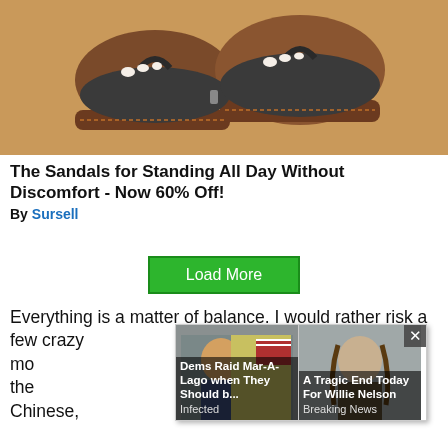[Figure (photo): Close-up photo of feet wearing dark grey/black orthopedic sandals with a tan/brown sole, on a beige background]
The Sandals for Standing All Day Without Discomfort - Now 60% Off!
By Sursell
[Figure (other): Load More button (green)]
Everything is a matter of balance. I would rather risk a few crazy methods which might do much good, more than the simple system, in which only the Chinese, s, and
[Figure (other): Popup overlay with two news cards: 'Dems Raid Mar-A-Lago when They Should b...' tagged Infected, and 'A Tragic End Today For Willie Nelson' tagged Breaking News, with an X close button]